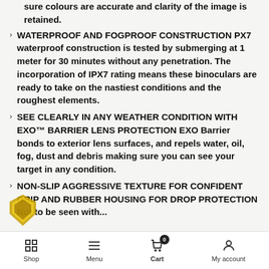sure colours are accurate and clarity of the image is retained.
WATERPROOF AND FOGPROOF CONSTRUCTION PX7 waterproof construction is tested by submerging at 1 meter for 30 minutes without any penetration. The incorporation of IPX7 rating means these binoculars are ready to take on the nastiest conditions and the roughest elements.
SEE CLEARLY IN ANY WEATHER CONDITION WITH EXO™ BARRIER LENS PROTECTION EXO Barrier bonds to exterior lens surfaces, and repels water, oil, fog, dust and debris making sure you can see your target in any condition.
NON-SLIP AGGRESSIVE TEXTURE FOR CONFIDENT GRIP AND RUBBER HOUSING FOR DROP PROTECTION Not to be seen with...
Shop  Menu  Cart 0  My account